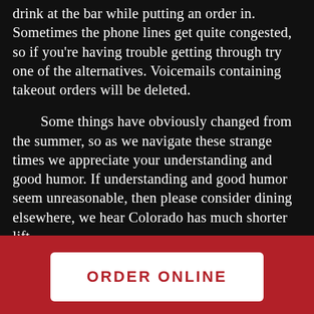drink at the bar while putting an order in. Sometimes the phone lines get quite congested, so if you're having trouble getting through try one of the alternatives. Voicemails containing takeout orders will be deleted.

Some things have obviously changed from the summer, so as we navigate these strange times we appreciate your understanding and good humor. If understanding and good humor seem unreasonable, then please consider dining elsewhere, we hear Colorado has much shorter lift
ORDER ONLINE